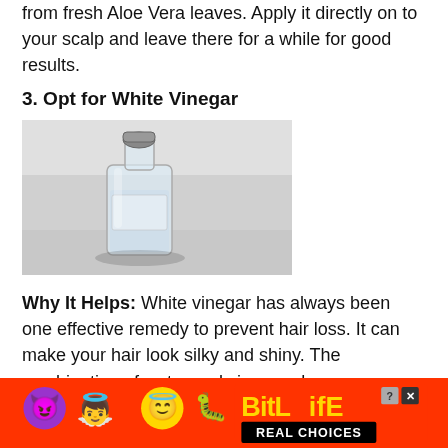from fresh Aloe Vera leaves. Apply it directly on to your scalp and leave there for a while for good results.
3. Opt for White Vinegar
[Figure (photo): A clear glass bottle/decanter of white vinegar on a light surface]
Why It Helps: White vinegar has always been one effective remedy to prevent hair loss. It can make your hair look silky and shiny. The combination of water and vinegar cleanses your hair and smooths the hair cuticle at the same time.
How to Apply: Take one part water and one part vinegar. Mix them together to make a paste. Ensure that you do not use plain water on your hair because it can lead to irritation. Use it to rinse your hair after shampooing.
4. Opt for Almond Oil
[Figure (illustration): BitLife advertisement banner with emoji characters and text REAL CHOICES]